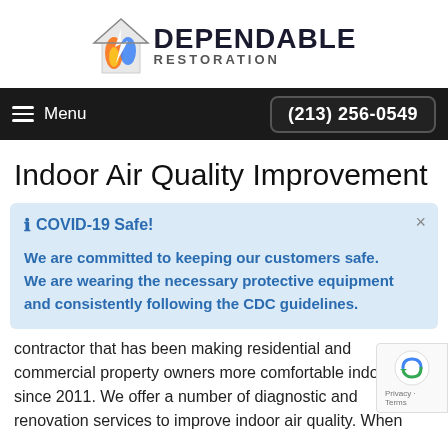[Figure (logo): Dependable Restoration logo with flame/house icon and company name]
Menu  (213) 256-0549
Indoor Air Quality Improvement
COVID-19 Safe!

We are committed to keeping our customers safe. We are wearing the necessary protective equipment and consistently following the CDC guidelines.
contractor that has been making residential and commercial property owners more comfortable indoors since 2011. We offer a number of diagnostic and renovation services to improve indoor air quality. When